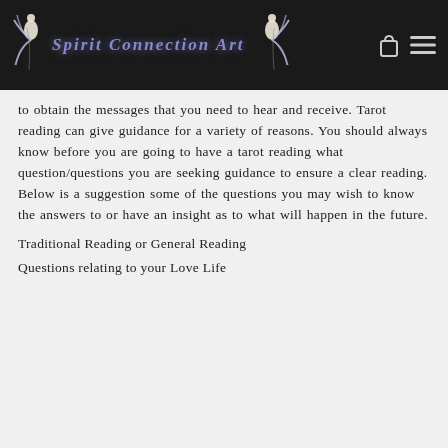Spirit Connection Art
to obtain the messages that you need to hear and receive. Tarot reading can give guidance for a variety of reasons. You should always know before you are going to have a tarot reading what question/questions you are seeking guidance to ensure a clear reading. Below is a suggestion some of the questions you may wish to know the answers to or have an insight as to what will happen in the future.
Traditional Reading or General Reading
Questions relating to your Love Life